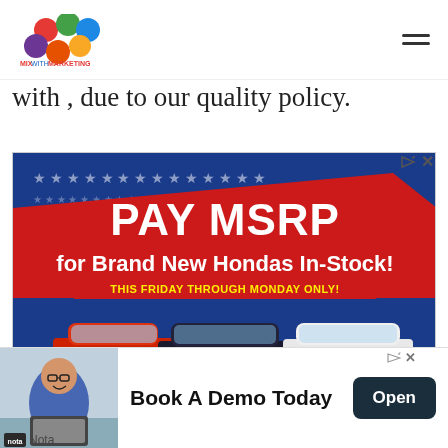Mix With Marketing logo and hamburger menu
with , due to our quality policy.
[Figure (photo): Honda car dealership advertisement: PAY MSRP for Brand New Hondas In-Stock! THIS FRIDAY THROUGH MONDAY ONLY! Shows three Honda cars (red sedan, dark SUV, white SUV). *EXCLUDES ACCORD HYBRID, CR-V HYBRID AND PRE-ORDER VEHICLES. MSRP EXCLUDES APPLICABLE SALES TAX, TITLE & REGISTRATION FEES, DEALER INSTALLED ACCESSORIES AND $1099 PROCESSING FEE. MUST TAKE DELIVERY OF IN-STOCK VEHICLE BETWEEN FRIDAY 9/2/22 - MONDAY 9/5/22. 10640 Automotive Dr, Manassas 866-771-5815. Joyce Koons honda | VIEW INVENTORY]
This may surprise you at first, as offers its customers a complete
[Figure (photo): Bottom advertisement banner: man in glasses at desk. Book A Demo Today. Open button.]